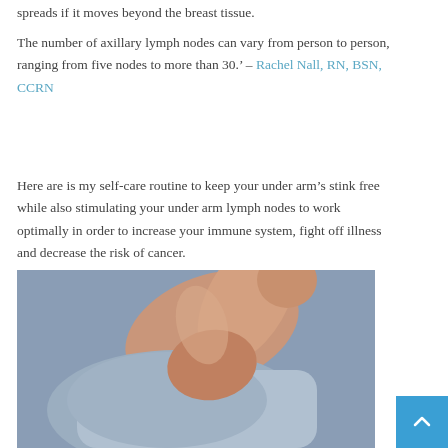spreads if it moves beyond the breast tissue.
The number of axillary lymph nodes can vary from person to person, ranging from five nodes to more than 30.' – Rachel Nall, RN, BSN, CCRN
Here are is my self-care routine to keep your under arm's stink free while also stimulating your under arm lymph nodes to work optimally in order to increase your immune system, fight off illness and decrease the risk of cancer.
[Figure (photo): Person lifting arm to show underarm area, wearing a light grey t-shirt, photographed against a grey background]